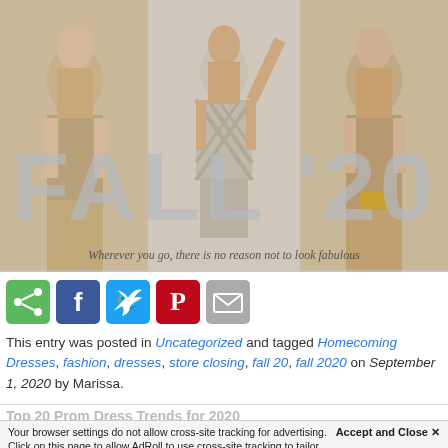[Figure (photo): Fashion banner showing three women modeling beige/taupe dresses with large 'FALL '20' text overlay and tagline 'Wherever you go, there is no reason not to look fabulous']
[Figure (infographic): Row of social sharing buttons: share (green), Facebook (blue), Twitter (cyan), Pinterest (red), email (grey)]
This entry was posted in Uncategorized and tagged Homecoming Dresses, fashion, dresses, store closing, fall 20, fall 2020 on September 1, 2020 by Marissa.
Top 20 Prom Dress Trends for 2020
Accept and Close ✕
Your browser settings do not allow cross-site tracking for advertising. Click on this page to allow AdRoll to use cross-site tracking to tailor ads to you. Learn more or opt out of this AdRoll tracking by clicking here. This message only appears once.